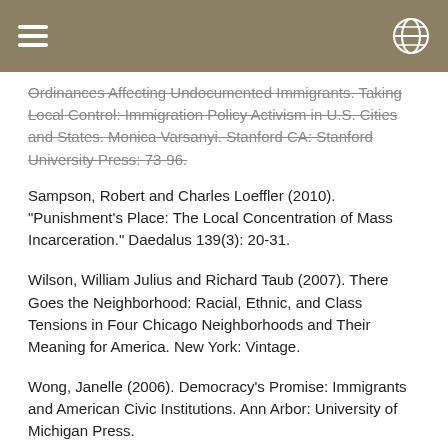[header bar with menu and globe icons]
Ordinances Affecting Undocumented Immigrants. Taking Local Control: Immigration Policy Activism in U.S. Cities and States. Monica Varsanyi. Stanford CA: Stanford University Press: 73-96.
Sampson, Robert and Charles Loeffler (2010). "Punishment's Place: The Local Concentration of Mass Incarceration." Daedalus 139(3): 20-31.
Wilson, William Julius and Richard Taub (2007). There Goes the Neighborhood: Racial, Ethnic, and Class Tensions in Four Chicago Neighborhoods and Their Meaning for America. New York: Vintage.
Wong, Janelle (2006). Democracy's Promise: Immigrants and American Civic Institutions. Ann Arbor: University of Michigan Press.